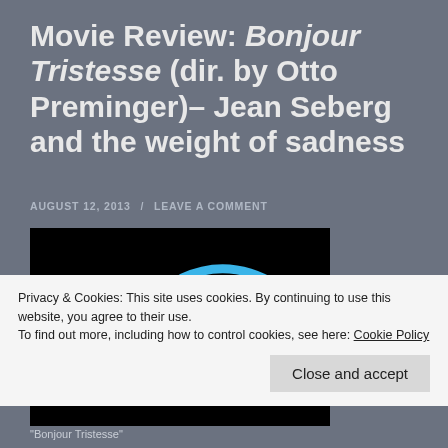Movie Review: Bonjour Tristesse (dir. by Otto Preminger)– Jean Seberg and the weight of sadness
AUGUST 12, 2013 / LEAVE A COMMENT
[Figure (photo): Abstract blue line art face illustration on black background, showing eyes, a curved nose line, and a triangular shape suggesting a face, in the style of Picasso or Saul Bass title design for Bonjour Tristesse]
Privacy & Cookies: This site uses cookies. By continuing to use this website, you agree to their use.
To find out more, including how to control cookies, see here: Cookie Policy
Close and accept
"Bonjour Tristesse"